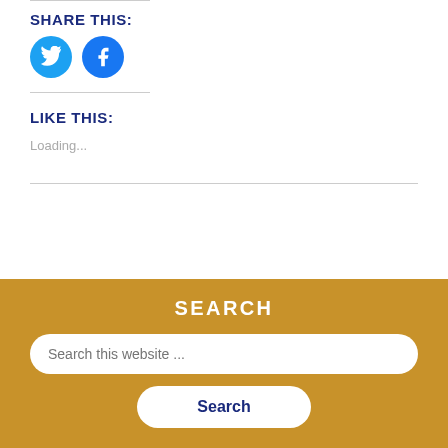SHARE THIS:
[Figure (illustration): Two circular social media share buttons: Twitter (blue bird icon) and Facebook (blue 'f' icon)]
LIKE THIS:
Loading...
SEARCH
Search this website ...
Search